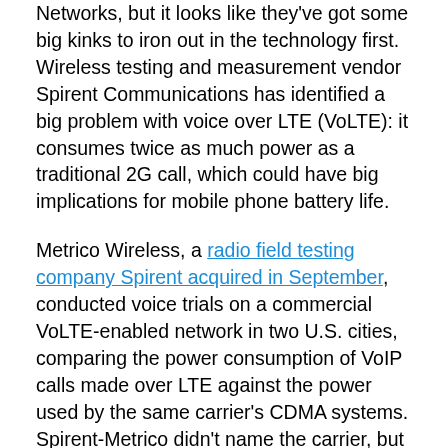Networks, but it looks like they've got some big kinks to iron out in the technology first. Wireless testing and measurement vendor Spirent Communications has identified a big problem with voice over LTE (VoLTE): it consumes twice as much power as a traditional 2G call, which could have big implications for mobile phone battery life.
Metrico Wireless, a radio field testing company Spirent acquired in September, conducted voice trials on a commercial VoLTE-enabled network in two U.S. cities, comparing the power consumption of VoIP calls made over LTE against the power used by the same carrier's CDMA systems. Spirent-Metrico didn't name the carrier, but it's not hard to guess.
MetroPCS(s pcs) is the only U.S. operator with a live VoLTE service and a commercially available handset. The 1540 milliamp hour (mAh)-battery on Metro's sole VoLTE